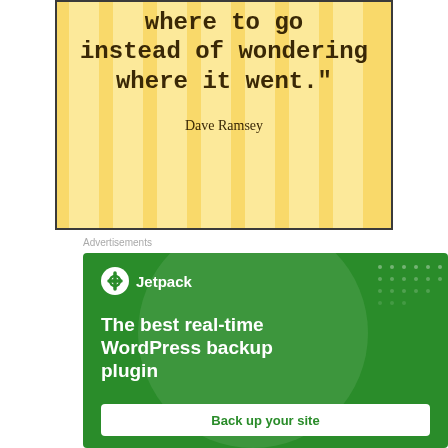[Figure (illustration): Quote card with yellow and cream vertical stripes background and bold text reading 'where to go instead of wondering where it went.' attributed to Dave Ramsey]
Advertisements
[Figure (illustration): Jetpack advertisement on green background with Jetpack logo, headline 'The best real-time WordPress backup plugin', and a white 'Back up your site' button]